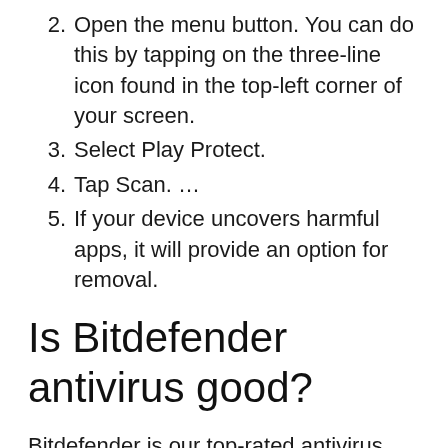2. Open the menu button. You can do this by tapping on the three-line icon found in the top-left corner of your screen.
3. Select Play Protect.
4. Tap Scan. …
5. If your device uncovers harmful apps, it will provide an option for removal.
Is Bitdefender antivirus good?
Bitdefender is our top-rated antivirus software of 2022. Depending on the package and price, Bitdefender can defend your PC against a wide variety of cyber threats. These include various types of malware such as viruses, spyware, adware, and